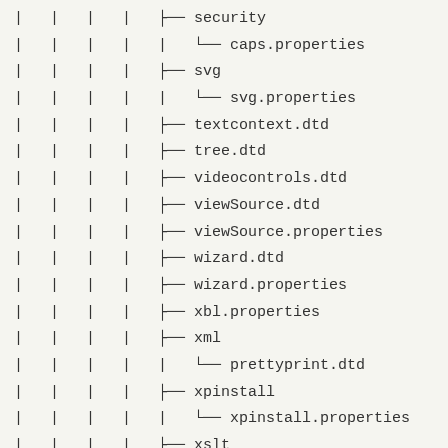| | | | ├── security
| | | | |   └── caps.properties
| | | | ├── svg
| | | | |   └── svg.properties
| | | | ├── textcontext.dtd
| | | | ├── tree.dtd
| | | | ├── videocontrols.dtd
| | | | ├── viewSource.dtd
| | | | ├── viewSource.properties
| | | | ├── wizard.dtd
| | | | ├── wizard.properties
| | | | ├── xbl.properties
| | | | ├── xml
| | | | |   └── prettyprint.dtd
| | | | ├── xpinstall
| | | | |   └── xpinstall.properties
| | | | ├── xslt
| | | | |   └── xslt.properties